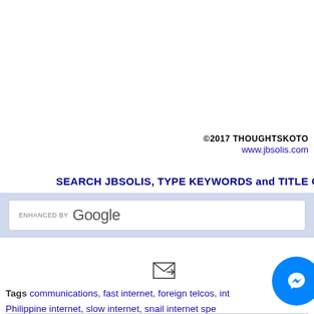©2017 THOUGHTSKOTO
www.jbsolis.com
SEARCH JBSOLIS, TYPE KEYWORDS and TITLE O
[Figure (screenshot): Google search bar enhanced by Google]
[Figure (other): Email/forward icon button]
Tags communications, fast internet, foreign telcos, int... Philippine internet, slow internet, snail internet spe...
[Figure (other): Facebook Messenger chat button (blue circle with lightning bolt icon)]